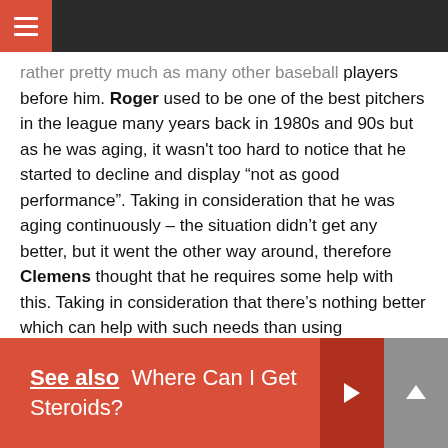[hamburger menu / navigation bar]
rather pretty much as many other baseball players before him. Roger used to be one of the best pitchers in the league many years back in 1980s and 90s but as he was aging, it wasn't too hard to notice that he started to decline and display “not as good performance”. Taking in consideration that he was aging continuously – the situation didn’t get any better, but it went the other way around, therefore Clemens thought that he requires some help with this. Taking in consideration that there’s nothing better which can help with such needs than using performance enhancing drugs and most specifically – anabolic steroids, that’s what he used.
See also  Where Can I Get Steroids?